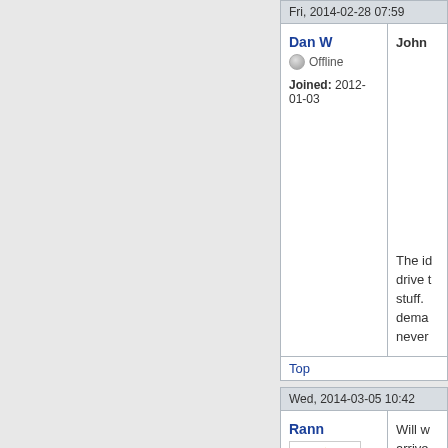Fri, 2014-02-28 07:59
Dan W
Offline
Joined: 2012-01-03
John
The id drive b stuff. dema never
Top
Wed, 2014-03-05 10:42
Rann
Will w arrive